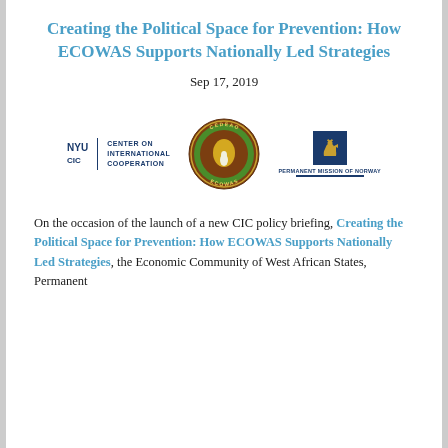Creating the Political Space for Prevention: How ECOWAS Supports Nationally Led Strategies
Sep 17, 2019
[Figure (logo): Three logos: NYU Center on International Cooperation (CIC), ECOWAS circular emblem with African map in brown/green/yellow, and Permanent Mission of Norway with blue crest]
On the occasion of the launch of a new CIC policy briefing, Creating the Political Space for Prevention: How ECOWAS Supports Nationally Led Strategies, the Economic Community of West African States, Permanent